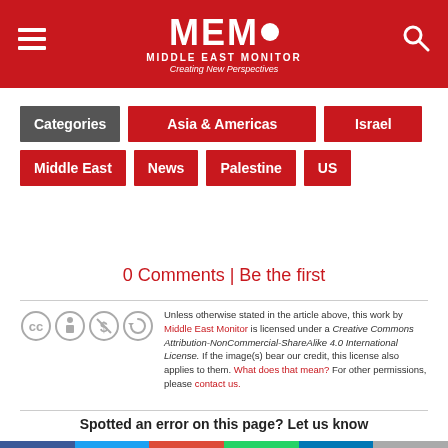[Figure (logo): Middle East Monitor (MEMO) logo on red background with hamburger menu icon on left and search icon on right]
Categories
Asia & Americas
Israel
Middle East
News
Palestine
US
0 Comments | Be the first
Unless otherwise stated in the article above, this work by Middle East Monitor is licensed under a Creative Commons Attribution-NonCommercial-ShareAlike 4.0 International License. If the image(s) bear our credit, this license also applies to them. What does that mean? For other permissions, please contact us.
Spotted an error on this page? Let us know